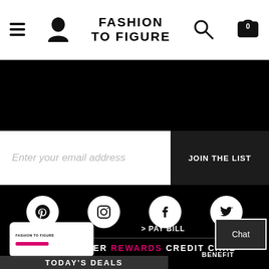[Figure (screenshot): Fashion To Figure website header with hamburger menu, user icon, logo, search icon, and cart icon (showing 0)]
[Figure (screenshot): Email newsletter signup bar with placeholder text 'Enter your email address' and 'JOIN THE LIST' button]
[Figure (screenshot): Social media icons row: Pinterest, Instagram, Facebook, Twitter on black background]
TRENDSETTER REWARDS CREDIT CARD
[Figure (screenshot): Fashion To Figure credit card image with > PAY BILL link and Chat button overlay]
TODAY'S DEALS BENEFITS